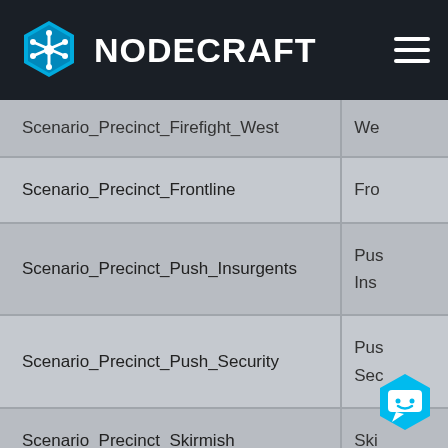NODECRAFT
| Scenario Name | Short Name |
| --- | --- |
| Scenario_Precinct_Firefight_West | We... |
| Scenario_Precinct_Frontline | Fro... |
| Scenario_Precinct_Push_Insurgents | Pus... Ins... |
| Scenario_Precinct_Push_Security | Pus... Sec... |
| Scenario_Precinct_Skirmish | Ski... |
| Scenario_Precinct_Team_Deathmatch |  |